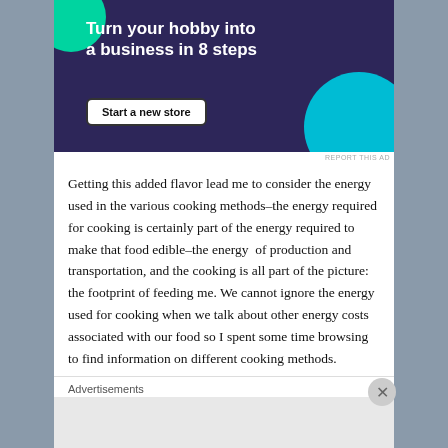[Figure (infographic): Advertisement banner with dark purple background, green and cyan circular decorative elements. Bold white text reads 'Turn your hobby into a business in 8 steps' with a white 'Start a new store' button below.]
REPORT THIS AD
Getting this added flavor lead me to consider the energy used in the various cooking methods–the energy required for cooking is certainly part of the energy required to make that food edible–the energy of production and transportation, and the cooking is all part of the picture: the footprint of feeding me. We cannot ignore the energy used for cooking when we talk about other energy costs associated with our food so I spent some time browsing to find information on different cooking methods.
Advertisements
REPORT THIS AD